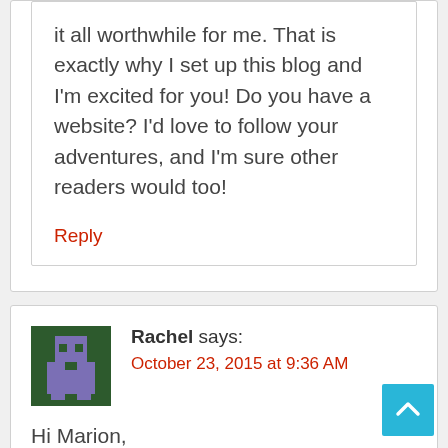it all worthwhile for me. That is exactly why I set up this blog and I'm excited for you! Do you have a website? I'd love to follow your adventures, and I'm sure other readers would too!
Reply
Rachel says:
October 23, 2015 at 9:36 AM
Hi Marion,